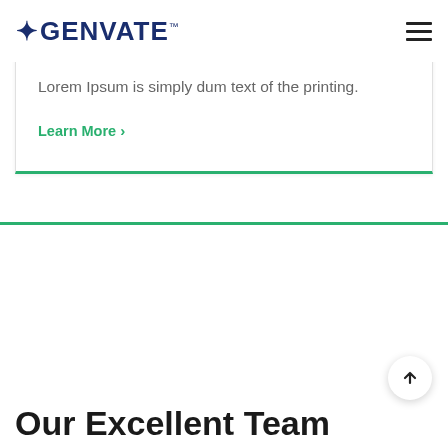GENVATE™
Lorem Ipsum is simply dum text of the printing.
Learn More ›
Our Excellent Team